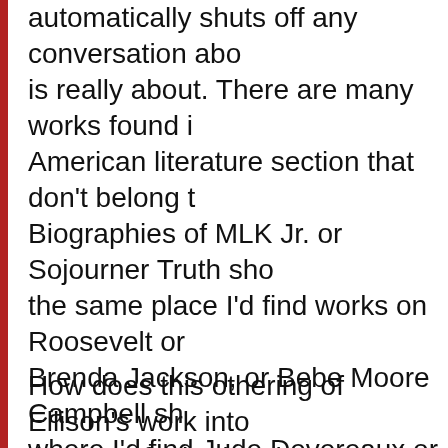automatically shuts off any conversation about what it is really about. There are many works found in the American literature section that don't belong there. Biographies of MLK Jr. or Sojourner Truth should be in the same place I'd find works on Roosevelt or Lincoln. Brenda Jackson, or Bebe Moore Campbell should be where I'd find Jude Devereaux or Sandra Brown. But that's not what happens. Instead if it is by a black person, or in the case of many biographies, about a black person, it goes to the automatically black book section which sends the message : Hey, this book is by someone black, and must be about someone black and therefore only for black people. This kind of attitude immediately shuts off an entire audience that could find a use for or enjoyment in a novel whose only drawback is that it is written by a black person,
How does this othering of Ellison's work fit into the themes of othering that occur in Erasure? Is the works by blacks as automatically African-Am...